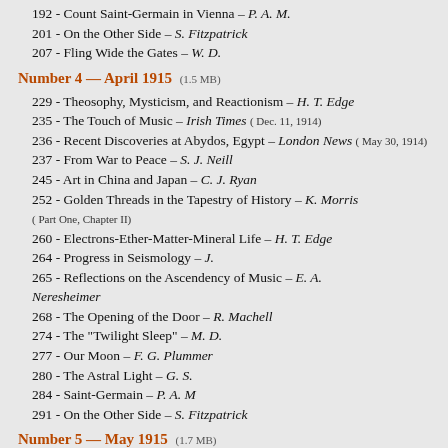192 - Count Saint-Germain in Vienna – P. A. M.
201 - On the Other Side – S. Fitzpatrick
207 - Fling Wide the Gates – W. D.
Number 4 — April 1915  (1.5 MB)
229 - Theosophy, Mysticism, and Reactionism – H. T. Edge
235 - The Touch of Music – Irish Times ( Dec. 11, 1914)
236 - Recent Discoveries at Abydos, Egypt – London News ( May 30, 1914)
237 - From War to Peace – S. J. Neill
245 - Art in China and Japan – C. J. Ryan
252 - Golden Threads in the Tapestry of History – K. Morris ( Part One, Chapter II)
260 - Electrons-Ether-Matter-Mineral Life – H. T. Edge
264 - Progress in Seismology – J.
265 - Reflections on the Ascendency of Music – E. A. Neresheimer
268 - The Opening of the Door – R. Machell
274 - The "Twilight Sleep" – M. D.
277 - Our Moon – F. G. Plummer
280 - The Astral Light – G. S.
284 - Saint-Germain – P. A. M
291 - On the Other Side – S. Fitzpatrick
Number 5 — May 1915  (1.7 MB)